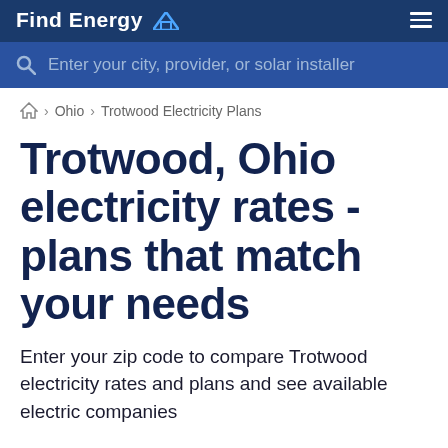Find Energy
Enter your city, provider, or solar installer
🏠 › Ohio › Trotwood Electricity Plans
Trotwood, Ohio electricity rates - plans that match your needs
Enter your zip code to compare Trotwood electricity rates and plans and see available electric companies